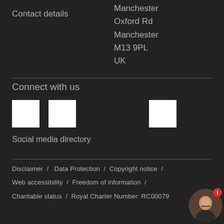Contact details
Manchester
Oxford Rd
Manchester
M13 9PL
UK
Connect with us
[Figure (illustration): Three white square social media icon placeholders]
Social media directory
Disclaimer  /   Data Protection  /  Copyright notice  /  Web accessibility  /  Freedom of information  /  Charitable status  /  Royal Charter Number: RC00079